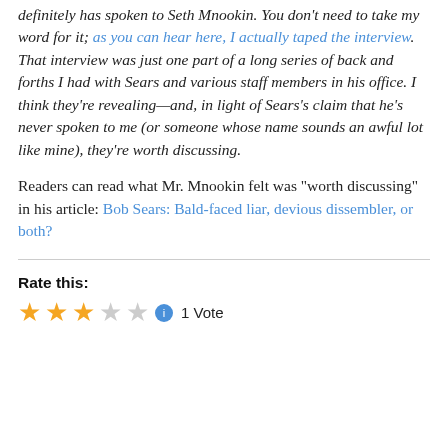definitely has spoken to Seth Mnookin. You don't need to take my word for it; as you can hear here, I actually taped the interview. That interview was just one part of a long series of back and forths I had with Sears and various staff members in his office. I think they're revealing—and, in light of Sears's claim that he's never spoken to me (or someone whose name sounds an awful lot like mine), they're worth discussing.
Readers can read what Mr. Mnookin felt was "worth discussing" in his article: Bob Sears: Bald-faced liar, devious dissembler, or both?
Rate this:
1 Vote